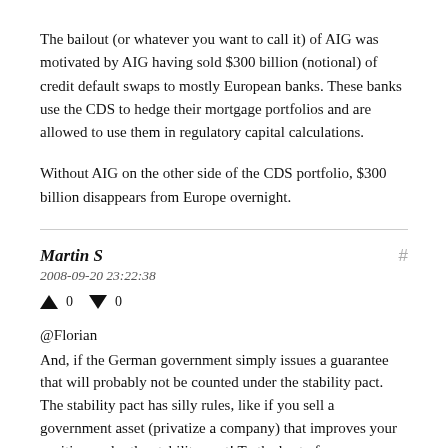The bailout (or whatever you want to call it) of AIG was motivated by AIG having sold $300 billion (notional) of credit default swaps to mostly European banks. These banks use the CDS to hedge their mortgage portfolios and are allowed to use them in regulatory capital calculations.
Without AIG on the other side of the CDS portfolio, $300 billion disappears from Europe overnight.
Martin S
2008-09-20 23:22:38
↑ 0 ↓ 0
@Florian
And, if the German government simply issues a guarantee that will probably not be counted under the stability pact.
The stability pact has silly rules, like if you sell a government asset (privatize a company) that improves your position under the stability pact! To the best of my knowledge the stability pact